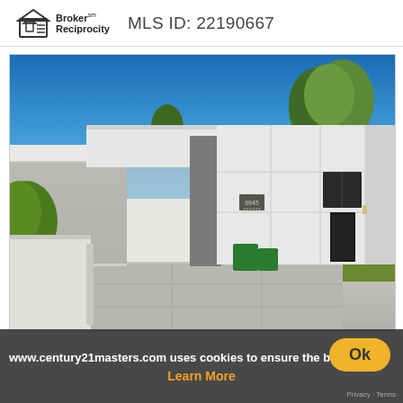Broker Reciprocity℠  MLS ID: 22190667
[Figure (photo): Exterior photo of a modern single-story white residential home with flat roof, large carport area, dark accent panels, green tree in background, clear blue sky, concrete driveway, green trash bins visible]
www.century21masters.com uses cookies to ensure the bes
Learn More
Ok